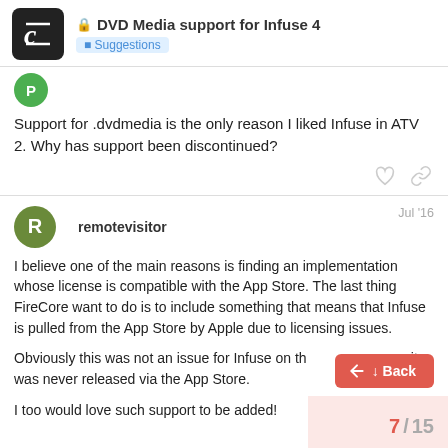DVD Media support for Infuse 4 — Suggestions
Support for .dvdmedia is the only reason I liked Infuse in ATV 2. Why has support been discontinued?
remotevisitor — Jul '16
I believe one of the main reasons is finding an implementation whose license is compatible with the App Store. The last thing FireCore want to do is to include something that means that Infuse is pulled from the App Store by Apple due to licensing issues.

Obviously this was not an issue for Infuse on the ATV 2 because it was never released via the App Store.

I too would love such support to be added!